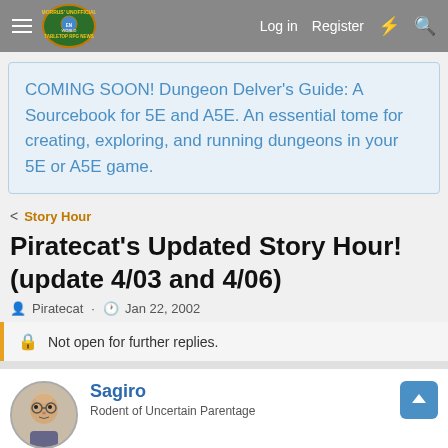Morrus' Unofficial Tabletop RPG News — Log in  Register
COMING SOON! Dungeon Delver's Guide: A Sourcebook for 5E and A5E. An essential tome for creating, exploring, and running dungeons in your 5E or A5E game.
< Story Hour
Piratecat's Updated Story Hour! (update 4/03 and 4/06)
Piratecat · Jan 22, 2002
Not open for further replies.
Sagiro
Rodent of Uncertain Parentage